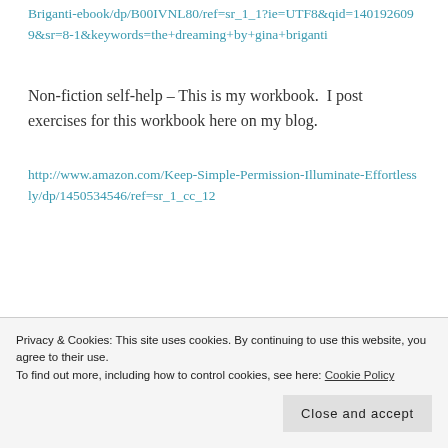Briganti-ebook/dp/B00IVNL80/ref=sr_1_1?ie=UTF8&qid=1401926099&sr=8-1&keywords=the+dreaming+by+gina+briganti
Non-fiction self-help – This is my workbook.  I post exercises for this workbook here on my blog.
http://www.amazon.com/Keep-Simple-Permission-Illuminate-Effortlessly/dp/1450534546/ref=sr_1_cc_12
Privacy & Cookies: This site uses cookies. By continuing to use this website, you agree to their use. To find out more, including how to control cookies, see here: Cookie Policy
Close and accept